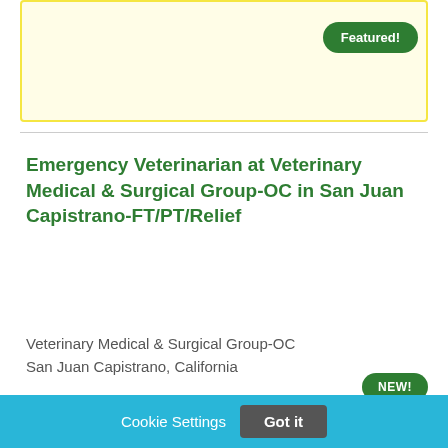Featured!
Emergency Veterinarian at Veterinary Medical & Surgical Group-OC in San Juan Capistrano-FT/PT/Relief
Veterinary Medical & Surgical Group-OC
San Juan Capistrano, California
NEW!
Cookie Settings
Got it
We use cookies so that we can remember you and understand how you use our site. If you do not agree with our use of cookies, please change the current settings found in our Cookie Policy. Otherwise, you agree to the use of the cookies as they are currently set.